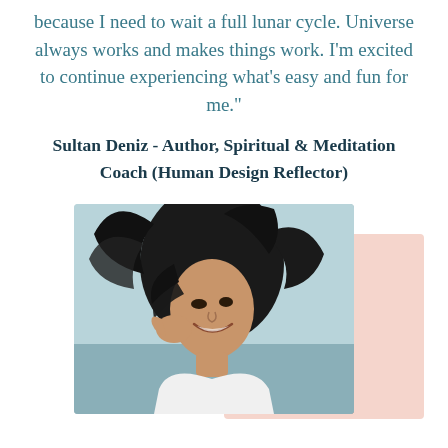because I need to wait a full lunar cycle. Universe always works and makes things work. I'm excited to continue experiencing what's easy and fun for me."
Sultan Deniz - Author, Spiritual & Meditation Coach (Human Design Reflector)
[Figure (photo): Portrait photo of Sultan Deniz, a woman with long dark hair blowing across her face, smiling, with a light blue/outdoor background. A pink rectangular background element is partially visible behind the photo.]